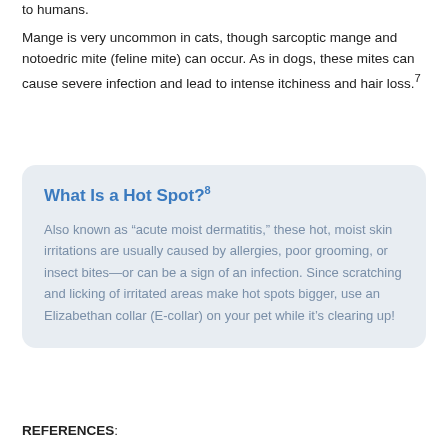to humans.
Mange is very uncommon in cats, though sarcoptic mange and notoedric mite (feline mite) can occur. As in dogs, these mites can cause severe infection and lead to intense itchiness and hair loss.7
What Is a Hot Spot?8
Also known as “acute moist dermatitis,” these hot, moist skin irritations are usually caused by allergies, poor grooming, or insect bites—or can be a sign of an infection. Since scratching and licking of irritated areas make hot spots bigger, use an Elizabethan collar (E-collar) on your pet while it’s clearing up!
REFERENCES: